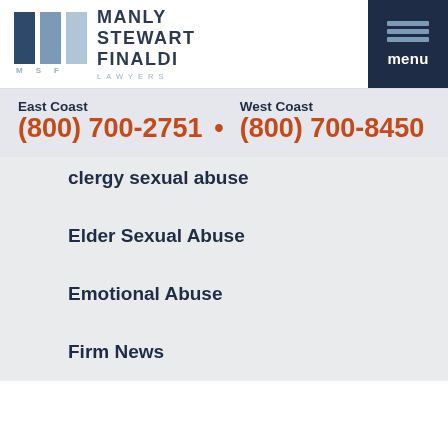[Figure (logo): Manly Stewart Finaldi Lawyers logo with three vertical bars in dark blue, medium blue, and light blue, with letters M S F below and firm name to the right]
menu
East Coast (800) 700-2751 • West Coast (800) 700-8450
clergy sexual abuse
Elder Sexual Abuse
Emotional Abuse
Firm News